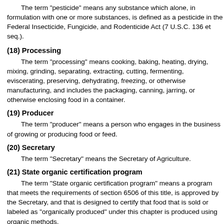The term "pesticide" means any substance which alone, in formulation with one or more substances, is defined as a pesticide in the Federal Insecticide, Fungicide, and Rodenticide Act (7 U.S.C. 136 et seq.).
(18) Processing
The term "processing" means cooking, baking, heating, drying, mixing, grinding, separating, extracting, cutting, fermenting, eviscerating, preserving, dehydrating, freezing, or otherwise manufacturing, and includes the packaging, canning, jarring, or otherwise enclosing food in a container.
(19) Producer
The term "producer" means a person who engages in the business of growing or producing food or feed.
(20) Secretary
The term "Secretary" means the Secretary of Agriculture.
(21) State organic certification program
The term "State organic certification program" means a program that meets the requirements of section 6506 of this title, is approved by the Secretary, and that is designed to certify that food that is sold or labeled as "organically produced" under this chapter is produced using organic methods.
(22) Synthetic
The term "synthetic" means a substance that is formulated or manufactured by a chemical process or by a process that chemically changes a substance extracted from naturally occurring plant, animal, or mineral sources, except that such term shall not apply to substances created by naturally occurring biological processes.